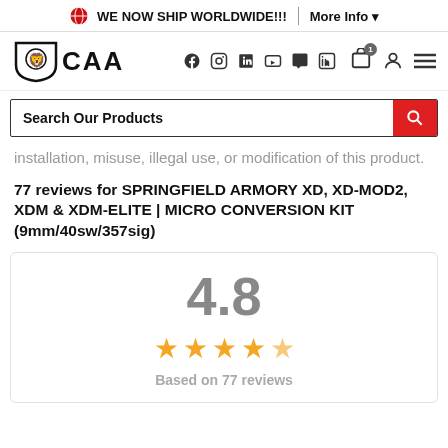WE NOW SHIP WORLDWIDE!!! | More Info
[Figure (logo): CAA lion shield logo with text CAA]
Search Our Products
installation, misuse, illegal use, or modification of this product.
77 reviews for SPRINGFIELD ARMORY XD, XD-MOD2, XDM & XDM-ELITE | MICRO CONVERSION KIT (9mm/40sw/357sig)
[Figure (infographic): Rating summary box showing 4.8 out of 5 stars with 5 gold stars and text Based on 77 reviews]